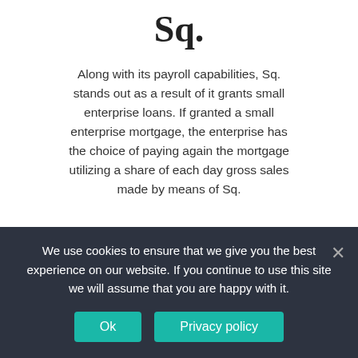Sq.
Along with its payroll capabilities, Sq. stands out as a result of it grants small enterprise loans. If granted a small enterprise mortgage, the enterprise has the choice of paying again the mortgage utilizing a share of each day gross sales made by means of Sq.
Masterpass
Masterpass was initially solely obtainable as a substitute for PayPal for Mastercard prospects, however, is now obtainable to all Bank cardholders. Along with Mastercard holders, Visa, American Specific, or Diners
We use cookies to ensure that we give you the best experience on our website. If you continue to use this site we will assume that you are happy with it.